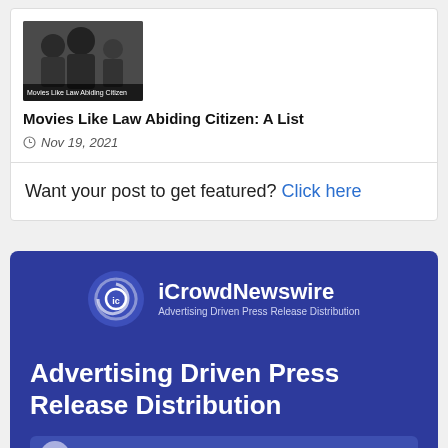[Figure (photo): Movie thumbnail image showing three people/characters in a dark tone with overlay text 'Movies Like Law Abiding Citizen']
Movies Like Law Abiding Citizen: A List
Nov 19, 2021
Want your post to get featured? Click here
[Figure (logo): iCrowdNewswire logo — circular swirl icon with text 'iCrowdNewswire' and tagline 'Advertising Driven Press Release Distribution']
Advertising Driven Press Release Distribution